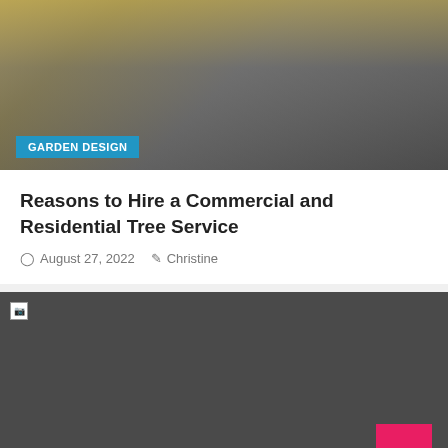[Figure (photo): Outdoor photo showing yellow construction crane/lift equipment among bare winter trees with grey sky]
GARDEN DESIGN
Reasons to Hire a Commercial and Residential Tree Service
August 27, 2022   Christine
[Figure (photo): Broken/unloaded image placeholder with dark grey background]
HOME REMODELING